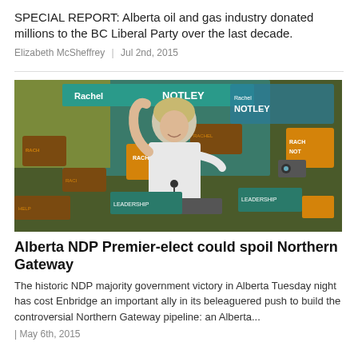SPECIAL REPORT: Alberta oil and gas industry donated millions to the BC Liberal Party over the last decade.
Elizabeth McSheffrey  |  Jul 2nd, 2015
[Figure (photo): A woman with blonde hair in a white blazer raises her arm in celebration at a podium surrounded by orange and brown 'Rachel Notley' campaign signs and supporters.]
Alberta NDP Premier-elect could spoil Northern Gateway
The historic NDP majority government victory in Alberta Tuesday night has cost Enbridge an important ally in its beleaguered push to build the controversial Northern Gateway pipeline: an Alberta...
|  May 6th, 2015